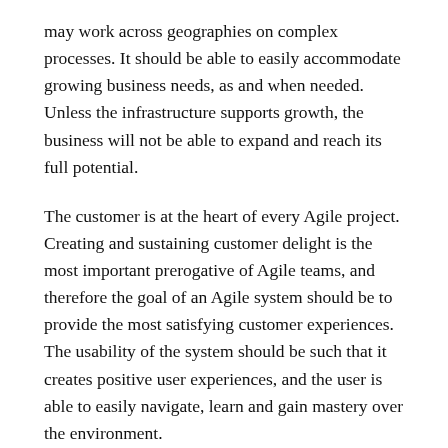may work across geographies on complex processes. It should be able to easily accommodate growing business needs, as and when needed. Unless the infrastructure supports growth, the business will not be able to expand and reach its full potential.
The customer is at the heart of every Agile project. Creating and sustaining customer delight is the most important prerogative of Agile teams, and therefore the goal of an Agile system should be to provide the most satisfying customer experiences. The usability of the system should be such that it creates positive user experiences, and the user is able to easily navigate, learn and gain mastery over the environment.
MIS Infrastructure Planning and Implementation